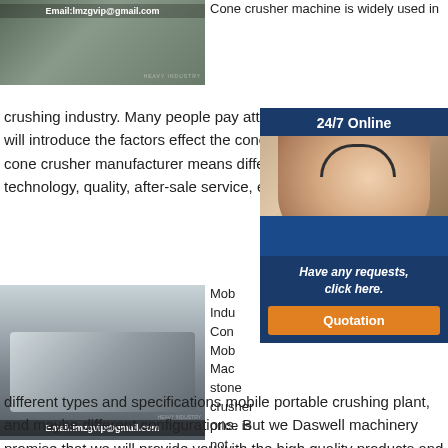[Figure (photo): Photo of industrial machinery/cone crusher with email overlay: Email:lmzgvip@gmail.com]
Cone crusher machine is widely used in crushing industry. Many people pay attention to the price, so we will introduce the factors effect the cone crusher price. Different cone crusher manufacturer means different company size, technology, quality, after-sale service, etc.
[Figure (photo): 24/7 Online customer service representative with headset, 'Have any requests, click here.' and Quotation button]
[Figure (photo): Photo of mobile cone crusher machine in factory with email overlay: Email:lmzgvip@gmail.com]
Mobile Portable Crushing Plant Induces Competitive Cone Crusher Price. Mobile Portable Crushing Machine stone crusher price is not fixed, for there are different types and specifications mobile portable crushing plant, and maybe different configurations. But we Daswell machinery promise that we will provide you with the high quality products and competitive price.